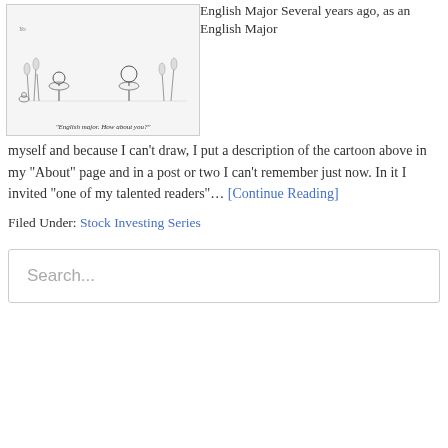[Figure (illustration): New Yorker style cartoon showing birds or figures at a bar/swamp setting with caption 'English major. How about you?']
English Major Several years ago, as an English Major myself and because I can't draw, I put a description of the cartoon above in my “About” page and in a post or two I can’t remember just now. In it I invited “one of my talented readers”… [Continue Reading]
Filed Under: Stock Investing Series
Search...